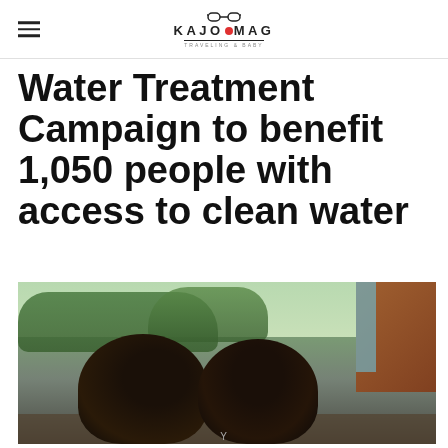KAJO MAG
Water Treatment Campaign to benefit 1,050 people with access to clean water
[Figure (photo): Two children with dark hair leaning over, photographed from above/behind, with green trees and a brown building in the background.]